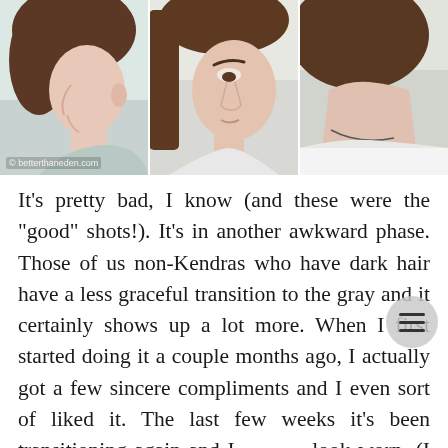[Figure (photo): Three side-profile or close-up photos of a woman with dark brown hair showing gray/natural roots, arranged in a horizontal strip. The leftmost photo shows a left-side profile. The middle photo shows a frontal/angled view. The rightmost photo shows a right-side back-of-neck view. A watermark '© betterthaneden.com' appears at the bottom-left of the first photo.]
It's pretty bad, I know (and these were the "good" shots!).  It's in another awkward phase.  Those of us non-Kendras who have dark hair have a less graceful transition to the gray and it certainly shows up a lot more.  When I first started doing it a couple months ago, I actually got a few sincere compliments and I even sort of liked it.  The last few weeks it's been transitioning again and I look worn. (I looked up synonyms for haggard and got to cadaverous...eh, I don't think I'd go that far